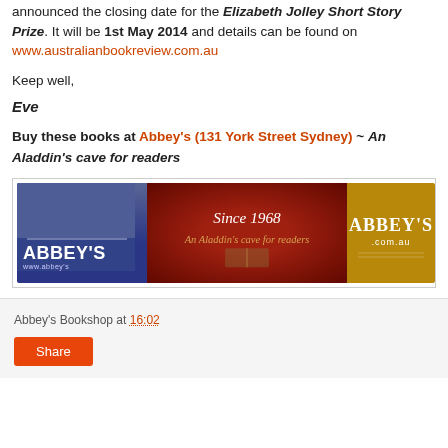announced the closing date for the Elizabeth Jolley Short Story Prize. It will be 1st May 2014 and details can be found on www.australianbookreview.com.au
Keep well,
Eve
Buy these books at Abbey's (131 York Street Sydney) ~ An Aladdin's cave for readers
[Figure (photo): Abbey's Bookshop banner advertisement showing the Abbey's logo on a blue background on the left, 'Since 1968 An Aladdin's cave for readers' text on a dark red background in the middle, and ABBEY'S .com.au on a gold/tan background on the right.]
Abbey's Bookshop at 16:02
Share